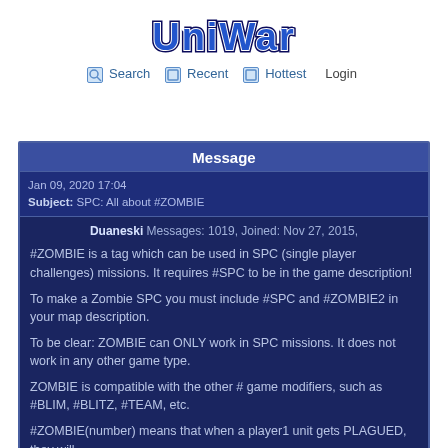[Figure (logo): UniWar game logo in blue pixel/retro font with white outline on white background]
Search   Recent   Hottest   Login
Message
Jan 09, 2020 17:04
Subject: SPC: All about #ZOMBIE
Duaneski Messages: 1019, Joined: Nov 27, 2015,
#ZOMBIE is a tag which can be used in SPC (single player challenges) missions. It requires #SPC to be in the game description!
To make a Zombie SPC you must include #SPC and #ZOMBIE2 in your map description.
To be clear: ZOMBIE can ONLY work in SPC missions. It does not work in any other game type.
ZOMBIE is compatible with the other # game modifiers, such as #BLIM, #BLITZ, #TEAM, etc.
#ZOMBIE(number) means that when a player1 unit gets PLAGUED, they will...